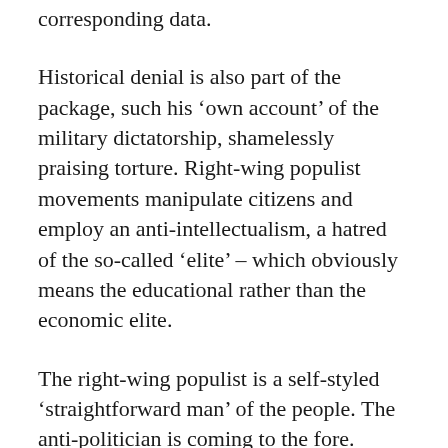corresponding data.
Historical denial is also part of the package, such his ‘own account’ of the military dictatorship, shamelessly praising torture. Right-wing populist movements manipulate citizens and employ an anti-intellectualism, a hatred of the so-called ‘elite’ – which obviously means the educational rather than the economic elite.
The right-wing populist is a self-styled ‘straightforward man’ of the people. The anti-politician is coming to the fore. Ideological confrontation is the aim, not least in order to deflect from the results of his own economic